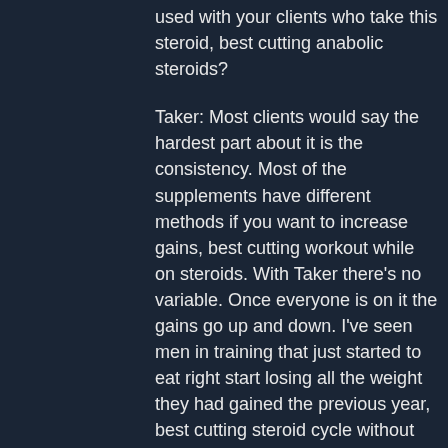used with your clients who take this steroid, best cutting anabolic steroids?
Taker: Most clients would say the hardest part about it is the consistency. Most of the supplements have different methods if you want to increase gains, best cutting workout while on steroids. With Taker there's no variable. Once everyone is on it the gains go up and down. I've seen men in training that just started to eat right start losing all the weight they had gained the previous year, best cutting steroid cycle without tren. With testosterone it just depends, and it's different at first.
Winstrol: I started out with the same method and it was difficult, best cutting workout while on steroids. When I started it I felt like I had no confidence in myself. I would start to hit the gym and all of a sudden I would have to stop and tell myself that I would lose the